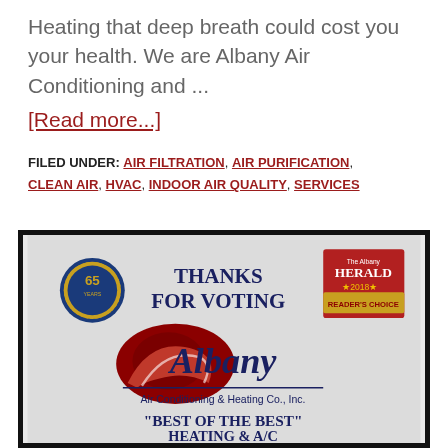Heating that deep breath could cost you your health. We are Albany Air Conditioning and ...
[Read more...]
FILED UNDER: AIR FILTRATION, AIR PURIFICATION, CLEAN AIR, HVAC, INDOOR AIR QUALITY, SERVICES
[Figure (photo): Albany Air Conditioning and Heating Co., Inc. award certificate from The Albany Herald 2018 Reader's Choice - Best of the Best Heating & A/C, with a 65th anniversary seal logo]